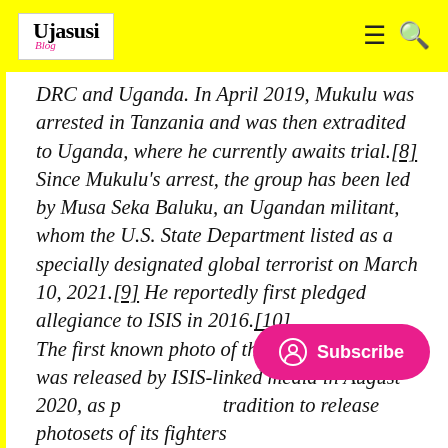Ujasusi Blog
DRC and Uganda. In April 2019, Mukulu was arrested in Tanzania and was then extradited to Uganda, where he currently awaits trial.[8] Since Mukulu's arrest, the group has been led by Musa Seka Baluku, an Ugandan militant, whom the U.S. State Department listed as a specially designated global terrorist on March 10, 2021.[9] He reportedly first pledged allegiance to ISIS in 2016.[10] The first known photo of the new commander was released by ISIS-linked media in August 2020, as part of ISIS's tradition to release photosets of its fighters